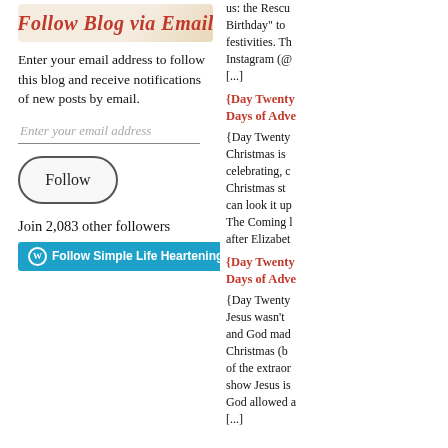[Figure (illustration): Header image with italic red text 'Follow Blog via Email' on a light beige/cream background with slight texture]
Enter your email address to follow this blog and receive notifications of new posts by email.
Enter your email address
Follow
Join 2,083 other followers
Follow Simple Life Heartenings  113
us: the Rescu Birthday" to festivities. Th Instagram (@ [...]
{Day Twenty Days of Adve
{Day Twenty Christmas is celebrating, c Christmas st can look it up The Coming l after Elizabet
{Day Twenty Days of Adve
{Day Twenty Jesus wasn't and God mad Christmas (b of the extraor show Jesus is God allowed a [...]